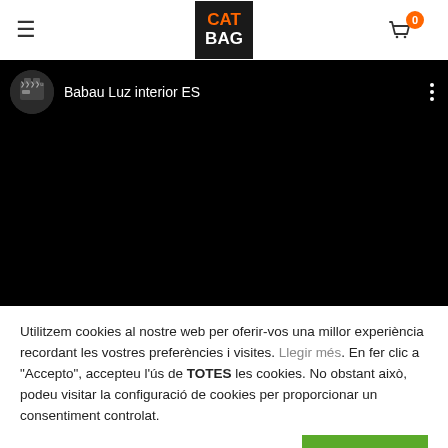CAT BAG — navigation header with hamburger menu and cart icon (0 items)
[Figure (screenshot): YouTube-style video embed showing 'Babau Luz interior ES' with dark thumbnail and channel icon, black video frame below]
Utilitzem cookies al nostre web per oferir-vos una millor experiència recordant les vostres preferències i visites. Llegir més. En fer clic a "Accepto", accepteu l'ús de TOTES les cookies. No obstant això, podeu visitar la configuració de cookies per proporcionar un consentiment controlat.
Configuració de cookies
ACCEPTO